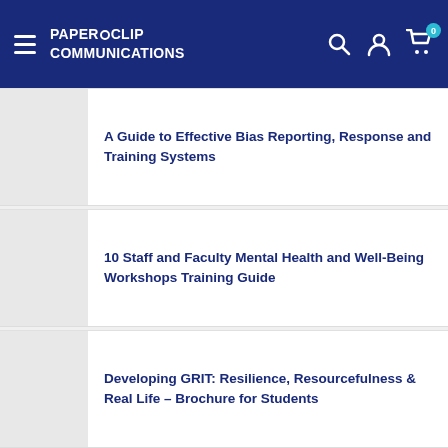PaperClip Communications
A Guide to Effective Bias Reporting, Response and Training Systems
10 Staff and Faculty Mental Health and Well-Being Workshops Training Guide
Developing GRIT: Resilience, Resourcefulness & Real Life – Brochure for Students